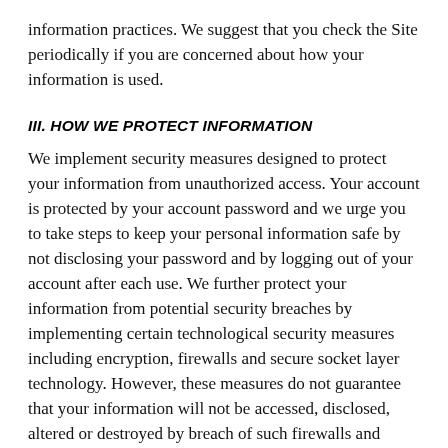information practices. We suggest that you check the Site periodically if you are concerned about how your information is used.
III. HOW WE PROTECT INFORMATION
We implement security measures designed to protect your information from unauthorized access. Your account is protected by your account password and we urge you to take steps to keep your personal information safe by not disclosing your password and by logging out of your account after each use. We further protect your information from potential security breaches by implementing certain technological security measures including encryption, firewalls and secure socket layer technology. However, these measures do not guarantee that your information will not be accessed, disclosed, altered or destroyed by breach of such firewalls and secure server software. By using our Service, you acknowledge that you understand and agree to assume these risks.